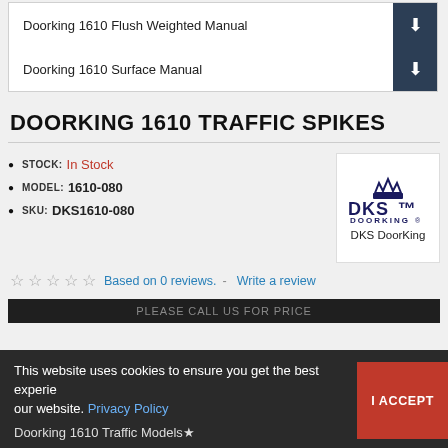| Document | Download |
| --- | --- |
| Doorking 1610 Flush Weighted Manual | ⬇ |
| Doorking 1610 Surface Manual | ⬇ |
DOORKING 1610 TRAFFIC SPIKES
STOCK: In Stock
MODEL: 1610-080
SKU: DKS1610-080
[Figure (logo): DKS DoorKing logo — crown icon above 'DKS' in bold with 'DOORKING' underneath]
☆☆☆☆☆  Based on 0 reviews.  -  Write a review
PLEASE CALL US FOR PRICE
This website uses cookies to ensure you get the best experience on our website. Privacy Policy
Doorking 1610 Traffic Models★